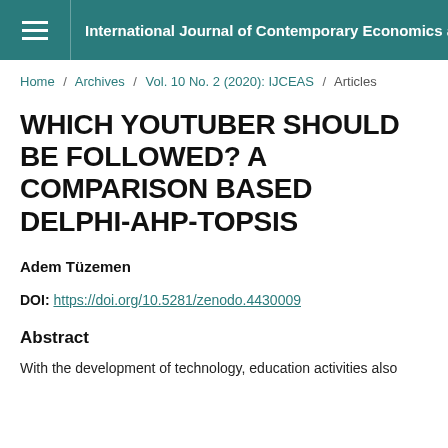International Journal of Contemporary Economics and A…
Home / Archives / Vol. 10 No. 2 (2020): IJCEAS / Articles
WHICH YOUTUBER SHOULD BE FOLLOWED? A COMPARISON BASED DELPHI-AHP-TOPSIS
Adem Tüzemen
DOI: https://doi.org/10.5281/zenodo.4430009
Abstract
With the development of technology, education activities also